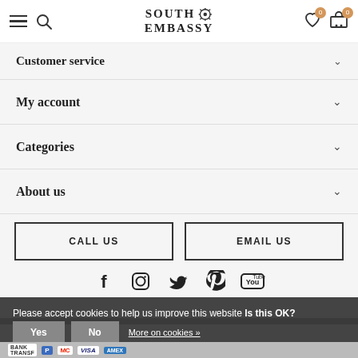South Embassy – site header with logo, hamburger menu, search, wishlist (0), cart (0)
Customer service
My account
Categories
About us
CALL US
EMAIL US
[Figure (infographic): Social media icons row: Facebook, Instagram, Twitter, Pinterest, YouTube]
Please accept cookies to help us improve this website Is this OK?
Yes   No   More on cookies »
[Figure (infographic): Payment method icons: Bank Transfer, PayPal, Mastercard, Visa, American Express, Giropay, Maestro, iDeal]